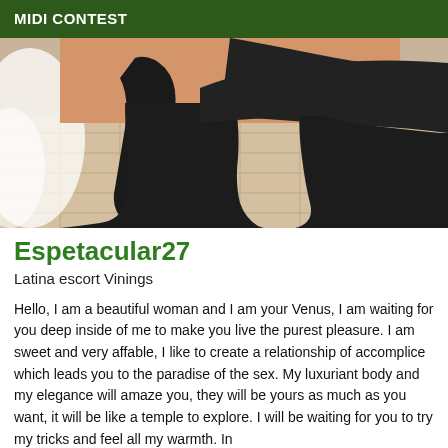MIDI CONTEST
[Figure (photo): Close-up photo of a person's legs wearing black knee-high heeled boots, with white fabric and a tiled floor visible in the background.]
Espetacular27
Latina escort Vinings
Hello, I am a beautiful woman and I am your Venus, I am waiting for you deep inside of me to make you live the purest pleasure. I am sweet and very affable, I like to create a relationship of accomplice which leads you to the paradise of the sex. My luxuriant body and my elegance will amaze you, they will be yours as much as you want, it will be like a temple to explore. I will be waiting for you to try my tricks and feel all my warmth. In